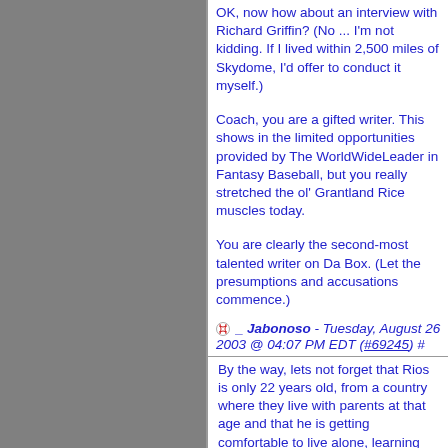OK, now how about an interview with Richard Griffin? (No ... I'm not kidding. If I lived within 2,500 miles of Skydome, I'd offer to conduct it myself.)
Coach, you are a gifted writer. This shows in the limited opportunities provided by The WorldWideLeader in Fantasy Baseball, but you really stretched the ol' Grantland Rice muscles today.
You are clearly the second-most talented writer on Da Box. (Let the presumptions and accusations commence.)
_ Jabonoso - Tuesday, August 26 2003 @ 04:07 PM EDT (#69245) #
By the way, lets not forget that Rios is only 22 years old, from a country where they live with parents at that age and that he is getting comfortable to live alone, learning some english, and